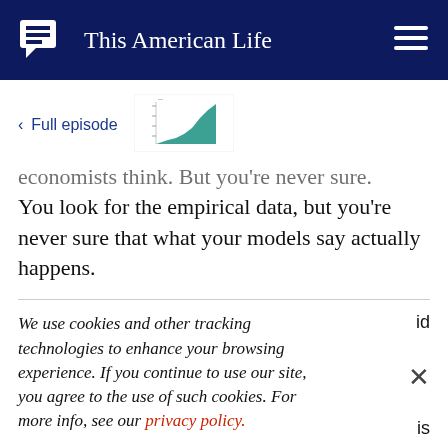This American Life
< Full episode
economists think. But you're never sure. You look for the empirical data, but you're never sure that what your models say actually happens.
We use cookies and other tracking technologies to enhance your browsing experience. If you continue to use our site, you agree to the use of such cookies. For more info, see our privacy policy.
where they put the coffee break